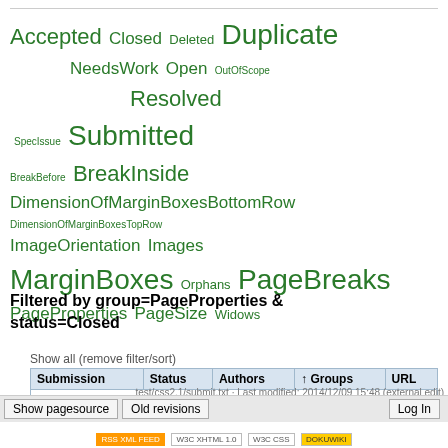[Figure (other): Tag cloud of CSS test submission statuses and groups in green text at various font sizes: Accepted, Closed, Deleted, Duplicate, NeedsWork, Open, OutOfScope, Resolved, SpecIssue, Submitted, BreakBefore, BreakInside, DimensionOfMarginBoxesBottomRow, DimensionOfMarginBoxesTopRow, ImageOrientation, Images, MarginBoxes, Orphans, PageBreaks, PageProperties, PageSize, Widows]
Filtered by group=PageProperties & status=Closed
Show all (remove filter/sort)
| Submission | Status | Authors | ↑ Groups | URL |
| --- | --- | --- | --- | --- |
| Nothing found |  |  |  |  |
test/css2.1/submit.txt · Last modified: 2014/12/09 15:48 (external edit)